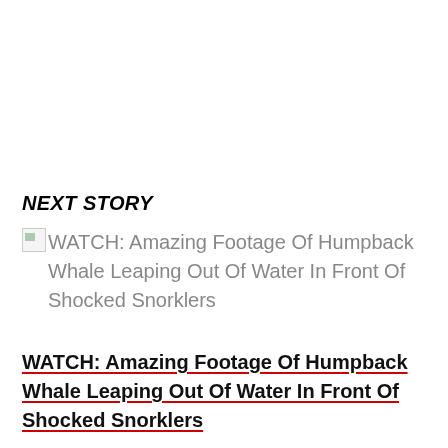NEXT STORY
[Figure (other): Broken/placeholder image thumbnail icon]
WATCH: Amazing Footage Of Humpback Whale Leaping Out Of Water In Front Of Shocked Snorklers
WATCH: Amazing Footage Of Humpback Whale Leaping Out Of Water In Front Of Shocked Snorklers